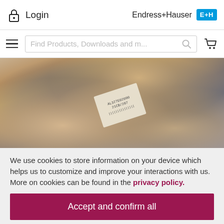Login | Endress+Hauser
[Figure (screenshot): Endress+Hauser website header with Login link on left, Endress+Hauser logo on right, search bar below with hamburger menu, search field placeholder 'Find Products, Downloads and m...', search icon, and shopping cart icon.]
[Figure (photo): Close-up photo of hands holding/inspecting a silver industrial sensor or flow meter device with a label sticker on it.]
We use cookies to store information on your device which helps us to customize and improve your interactions with us. More on cookies can be found in the privacy policy.
Accept and confirm all
Adapt settings